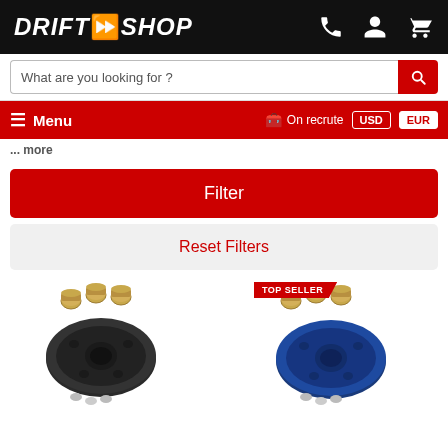[Figure (logo): DriftShop logo in white italic bold text with red stylized arrow/bolt between DRIFT and SHOP on black background]
[Figure (screenshot): Navigation header with phone, user, and cart icons on black background]
[Figure (screenshot): Search bar with placeholder 'What are you looking for ?' and red search button]
[Figure (screenshot): Red navigation bar with hamburger menu 'Menu', 'On recrute' with flag icon, USD and EUR currency buttons]
...more
Filter
Reset Filters
TOP SELLER
[Figure (photo): Black oil filter sandwich plate adapter with multiple brass fittings/nuts on white background]
[Figure (photo): Blue oil filter sandwich plate adapter with multiple brass fittings/nuts on white background, tagged as TOP SELLER]